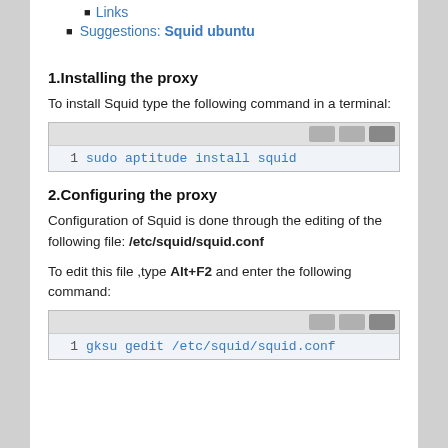Links
Suggestions: Squid ubuntu
1.Installing the proxy
To install Squid type the following command in a terminal:
1  sudo aptitude install squid
2.Configuring the proxy
Configuration of Squid is done through the editing of the following file: /etc/squid/squid.conf
To edit this file ,type Alt+F2 and enter the following command:
1  gksu gedit /etc/squid/squid.conf